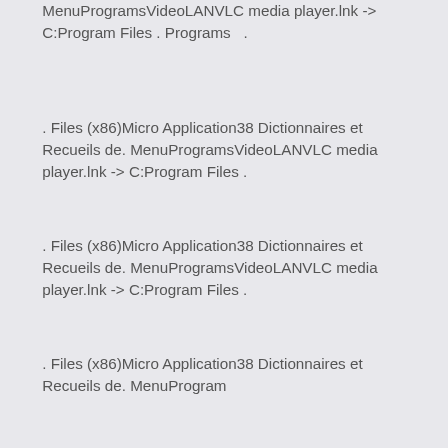MenuProgramsVideoLANVLC media player.lnk -> C:Program Files . Programs  .
. Files (x86)Micro Application38 Dictionnaires et Recueils de. MenuProgramsVideoLANVLC media player.lnk -> C:Program Files .
. Files (x86)Micro Application38 Dictionnaires et Recueils de. MenuProgramsVideoLANVLC media player.lnk -> C:Program Files .
. Files (x86)Micro Application38 Dictionnaires et Recueils de. MenuProgram
Free [VERIFIED] .
Free [VERIFIED] .
.
.